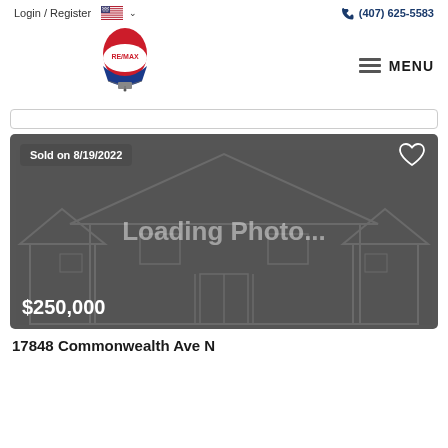Login / Register  (407) 625-5583
[Figure (logo): RE/MAX hot air balloon logo in red, white and blue]
MENU
[Figure (screenshot): Listing photo placeholder showing house outline wireframe with 'Loading Photo...' text overlay, sold badge 'Sold on 8/19/2022', heart icon, and price '$250,000']
17848 Commonwealth Ave N